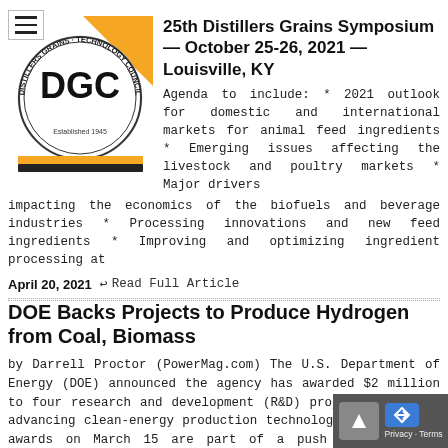[Figure (logo): Distillers Grains Technology Council logo — circular badge with DGC letters, orange and black color scheme, 'Established 1945' text]
25th Distillers Grains Symposium — October 25-26, 2021 — Louisville, KY
Agenda to include: * 2021 outlook for domestic and international markets for animal feed ingredients * Emerging issues affecting the livestock and poultry markets * Major drivers impacting the economics of the biofuels and beverage industries * Processing innovations and new feed ingredients * Improving and optimizing ingredient processing at
April 20, 2021   ↩ Read Full Article
DOE Backs Projects to Produce Hydrogen from Coal, Biomass
by Darrell Proctor (PowerMag.com) The U.S. Department of Energy (DOE) announced the agency has awarded $2 million to four research and development (R&D) projects aimed at advancing clean-energy production technologies. The DOE's awards on March 15 are part of a push by the Biden administration in its fight against climate change.